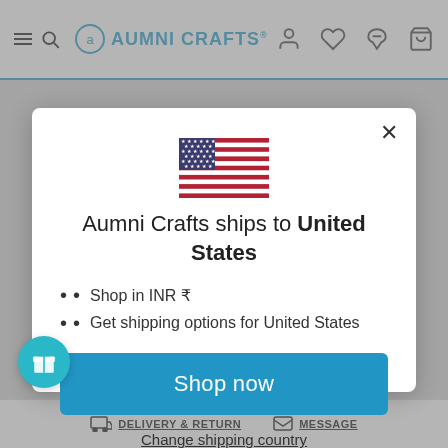AUMNI CRAFTS
[Figure (illustration): US flag emoji]
Aumni Crafts ships to United States
Shop in INR ₹
Get shipping options for United States
Shop now
Change shipping country
DELIVERY & RETURN   MESSAGE